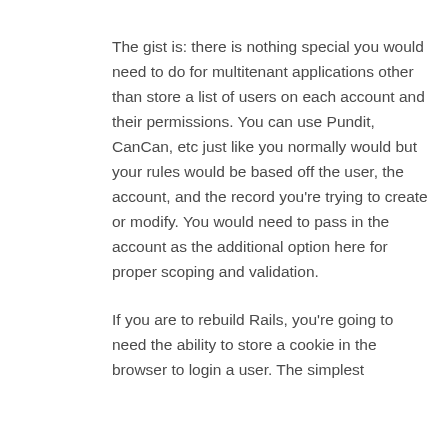The gist is: there is nothing special you would need to do for multitenant applications other than store a list of users on each account and their permissions. You can use Pundit, CanCan, etc just like you normally would but your rules would be based off the user, the account, and the record you're trying to create or modify. You would need to pass in the account as the additional option here for proper scoping and validation.
If you are to rebuild Rails, you're going to need the ability to store a cookie in the browser to login a user. The simplest